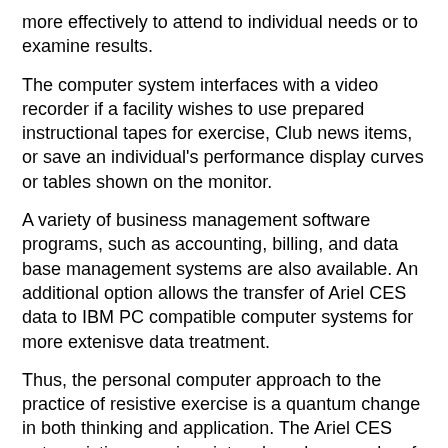more effectively to attend to individual needs or to examine results.
The computer system interfaces with a video recorder if a facility wishes to use prepared instructional tapes for exercise, Club news items, or save an individual's performance display curves or tables shown on the monitor.
A variety of business management software programs, such as accounting, billing, and data base management systems are also available. An additional option allows the transfer of Ariel CES data to IBM PC compatible computer systems for more extenisve data treatment.
Thus, the personal computer approach to the practice of resistive exercise is a quantum change in both thinking and application. The Ariel CES puts resistive exercises into a broad new realm of possibilities for applications in health care, human services, athletics, fitness and training and education.
Ariel CES Component Description
The Ariel Computerized Exercise System is comprised of